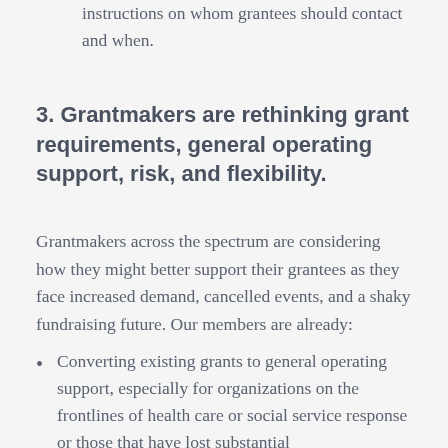organizations that also include step-by-step instructions on whom grantees should contact and when.
3. Grantmakers are rethinking grant requirements, general operating support, risk, and flexibility.
Grantmakers across the spectrum are considering how they might better support their grantees as they face increased demand, cancelled events, and a shaky fundraising future. Our members are already:
Converting existing grants to general operating support, especially for organizations on the frontlines of health care or social service response or those that have lost substantial